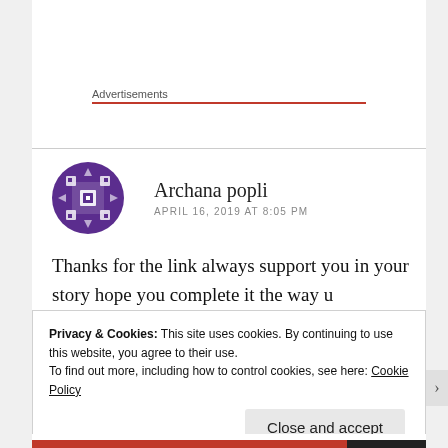Advertisements
Archana popli
APRIL 16, 2019 AT 8:05 PM
Thanks for the link always support you in your story hope you complete it the way u enivisaged it.
Privacy & Cookies: This site uses cookies. By continuing to use this website, you agree to their use.
To find out more, including how to control cookies, see here: Cookie Policy